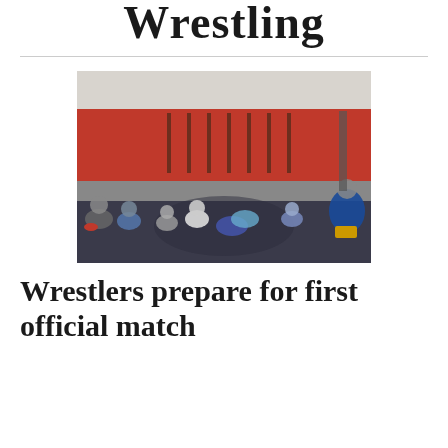Wrestling
[Figure (photo): Wrestling team practice in a gymnasium with red and grey walls. Students are seated in a circle on a dark mat while two wrestlers practice a move in the center.]
Wrestlers prepare for first official match